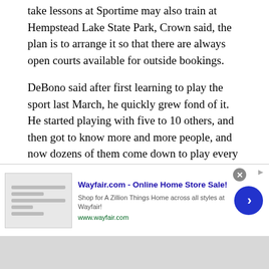take lessons at Sportime may also train at Hempstead Lake State Park, Crown said, the plan is to arrange it so that there are always open courts available for outside bookings.
DeBono said after first learning to play the sport last March, he quickly grew fond of it. He started playing with five to 10 others, and then got to know more and more people, and now dozens of them come down to play every day. Even snow and rain doesn't typically derail the enthusiastic group, he added, noting that they often shovel and squeegee the courts.
To help keep the courts from being privatized,
[Figure (screenshot): Advertisement banner for Wayfair.com - Online Home Store Sale! with close button, arrow button, small product image, and text: Shop for A Zillion Things Home across all styles at Wayfair! www.wayfair.com]